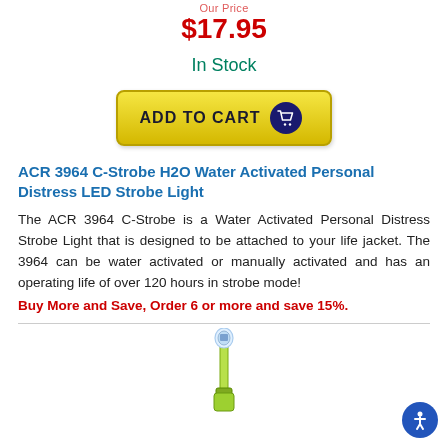Our Price
$17.95
In Stock
[Figure (other): Add to Cart button with shopping cart icon, yellow gradient background]
ACR 3964 C-Strobe H2O Water Activated Personal Distress LED Strobe Light
The ACR 3964 C-Strobe is a Water Activated Personal Distress Strobe Light that is designed to be attached to your life jacket. The 3964 can be water activated or manually activated and has an operating life of over 120 hours in strobe mode!
Buy More and Save, Order 6 or more and save 15%.
[Figure (photo): Product photo of ACR 3964 C-Strobe H2O LED strobe light, yellow/green color, shown partially at bottom of page]